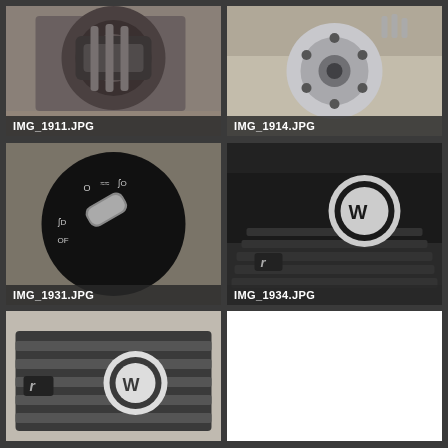[Figure (photo): Close-up photo of a car brake caliper or pulley/belt component on a workbench]
[Figure (photo): Photo of a circular flange/hub part with bolts on a light surface]
[Figure (photo): Close-up of a VW headlight/light switch knob on a dark background]
[Figure (photo): Close-up of VW Volkswagen front grille with logo badge on a dark car]
[Figure (photo): Photo of a VW Volkswagen front grille with R badge and VW logo, light background]